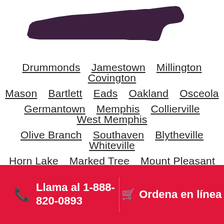[Figure (map): Silhouette map of Tennessee state in dark purple/maroon color]
Drummonds  Jamestown  Millington  Covington
Mason  Bartlett  Eads  Oakland  Osceola
Germantown  Memphis  Collierville  West Memphis
Olive Branch  Southaven  Blytheville  Whiteville
Horn Lake  Marked Tree  Mount Pleasant  Halls
Manila  Gosnell  Walls  Byhalia  Earle  Nesbit  Bells
Llama al 1-888-820-0893  Ordena en línea